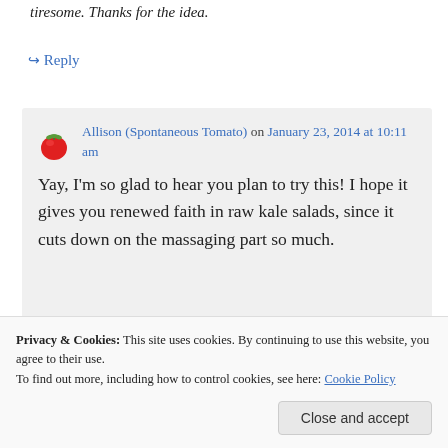tiresome. Thanks for the idea.
↪ Reply
Allison (Spontaneous Tomato) on January 23, 2014 at 10:11 am
Yay, I'm so glad to hear you plan to try this! I hope it gives you renewed faith in raw kale salads, since it cuts down on the massaging part so much.
Privacy & Cookies: This site uses cookies. By continuing to use this website, you agree to their use. To find out more, including how to control cookies, see here: Cookie Policy
Close and accept
of a green thumb) – I have to admit, I'm a